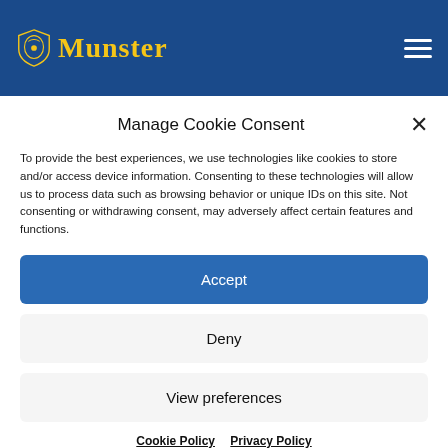Munster
1. Mark Lillis (Cooraclare)
2. Jack Sheedy (St Breckan's)
Manage Cookie Consent
To provide the best experiences, we use technologies like cookies to store and/or access device information. Consenting to these technologies will allow us to process data such as browsing behavior or unique IDs on this site. Not consenting or withdrawing consent, may adversely affect certain features and functions.
Accept
Deny
View preferences
Cookie Policy   Privacy Policy